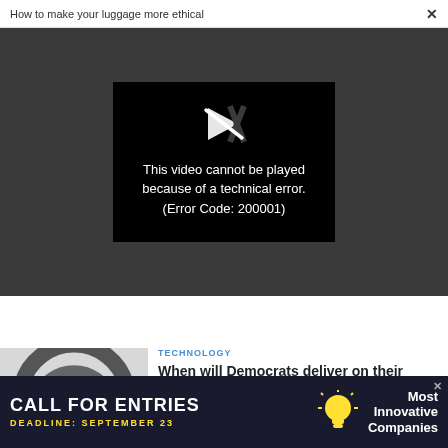How to make your luggage more ethical  ×
[Figure (screenshot): Video player error screen on dark gray background. A black box displays a broken play icon and the message: This video cannot be played because of a technical error. (Error Code: 200001)]
[Figure (photo): 3D rendered WiFi symbol icon on light gray background]
TECHNOLOGY
When will Democrats deliver on their promise to restore net neutrality?
[Figure (infographic): Advertisement banner: CALL FOR ENTRIES, DEADLINE: SEPTEMBER 23, Most Innovative Companies, with lightbulb icon]